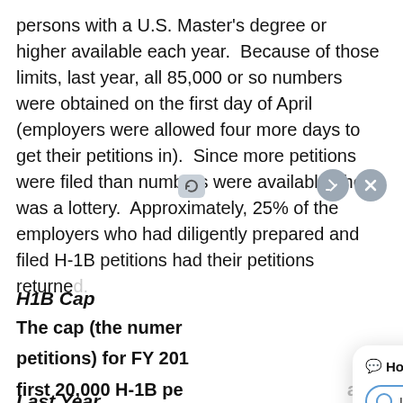persons with a U.S. Master's degree or higher available each year.  Because of those limits, last year, all 85,000 or so numbers were obtained on the first day of April (employers were allowed four more days to get their petitions in).  Since more petitions were filed than numbers were available, there was a lottery.  Approximately, 25% of the employers who had diligently prepared and filed H-1B petitions had their petitions returned.
H1B Cap
The cap (the number of H-1B petitions) for FY 2016 is 85,000. By exception, the first 20,000 H-1B petitions filed on behalf of individuals with U.S. Master's degrees or higher are exempt from the fiscal year cap of 65,000.
Last Year
[Figure (other): Chat widget overlay with header 'How can I help you?' and options: Immigrant Employment, Family, Visas, Immigration issues. Also shows edit and close icon buttons.]